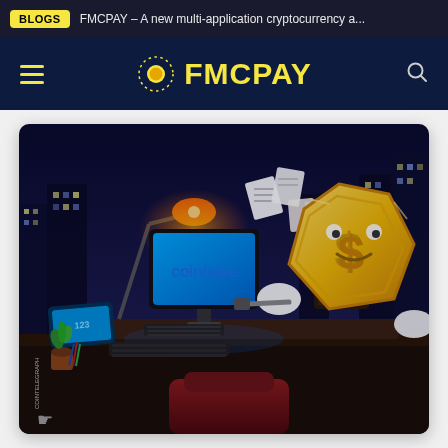BLOGS  FMCPAY – A new multi-application cryptocurrency a...
[Figure (logo): FMCPAY logo with navigation bar on dark navy background. Hamburger menu on left, FMCPAY logo (yellow coin icon with dotted orbit ring and yellow bold text) in center, search icon on right.]
[Figure (illustration): Cartoon illustration of a golden cryptocurrency coin character with a dollar sign sitting at a desk with a Coinbase-branded computer monitor, papers flying around, in a dark night office scene. Watermark: COINTELEGRAPH.]